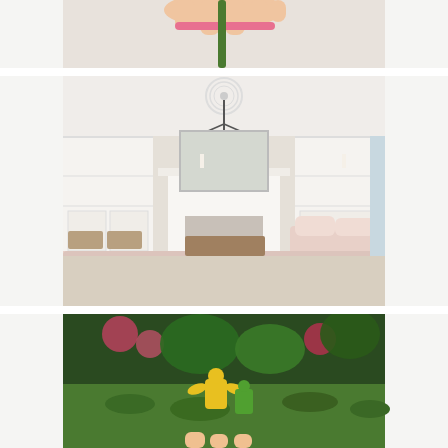[Figure (photo): Partial view of a hand holding a green flower stem with a pink flower, cropped at top of frame against a white background.]
[Figure (photo): Interior living room photo showing a cozy space with white built-in shelving on both sides of a fireplace, a lantern-style pendant light hanging from the ceiling with a decorative medallion, a large mirror above the fireplace mantel, light pink sofas, a wooden coffee table, and wicker baskets in the lower shelves.]
[Figure (photo): Outdoor garden scene partially visible, showing moss-covered surface with colorful yellow and green plastic toys/figurines, surrounded by lush green foliage and red/pink flowers in the background.]